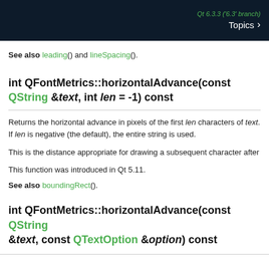Qt 6.3.3 ('6.3' branch) Topics
See also leading() and lineSpacing().
int QFontMetrics::horizontalAdvance(const QString &text, int len = -1) const
Returns the horizontal advance in pixels of the first len characters of text. If len is negative (the default), the entire string is used.
This is the distance appropriate for drawing a subsequent character after
This function was introduced in Qt 5.11.
See also boundingRect().
int QFontMetrics::horizontalAdvance(const QString &text, const QTextOption &option) const